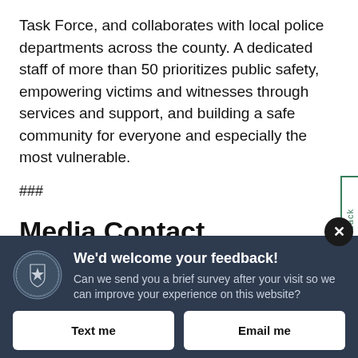Task Force, and collaborates with local police departments across the county. A dedicated staff of more than 50 prioritizes public safety, empowering victims and witnesses through services and support, and building a safe community for everyone and especially the most vulnerable.
###
Media Contact
[Figure (infographic): Massachusetts state seal icon (white circular seal on dark background)]
We'd welcome your feedback! Can we send you a brief survey after your visit so we can improve your experience on this website?
Text me
Email me